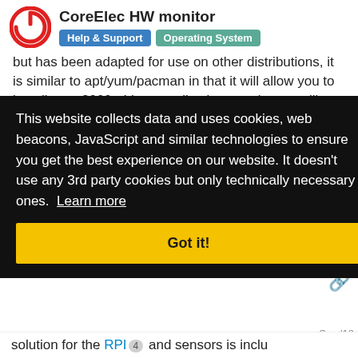CoreElec HW monitor | Help & Support | Operating System
but has been adapted for use on other distributions, it is similar to apt/yum/pacman in that it will allow you to install over 2000+ Linux applications, no longer will you have to use docker or hacky addons. > How do I install Entware? We do not package Entware with our images but we have added a script to enable you insta.
This website collects data and uses cookies, web beacons, JavaScript and similar technologies to ensure you get the best experience on our website. It doesn't use any 3rd party cookies but only technically necessary ones. Learn more
Got it!
solution for the RPI 4 and sensors is inclu